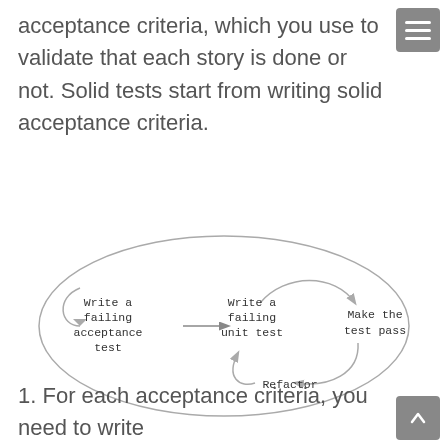acceptance criteria, which you use to validate that each story is done or not. Solid tests start from writing solid acceptance criteria.
[Figure (flowchart): A circular TDD diagram showing three nodes connected by arrows: 'Write a failing acceptance test' on the left, 'Write a failing unit test' in the center, and 'Make the test pass' on the right. Below center is 'Refactor'. Arrows form an outer large loop from left node back around, and an inner loop between the unit test, make the test pass, and refactor nodes.]
1. For each acceptance criteria, you need to write